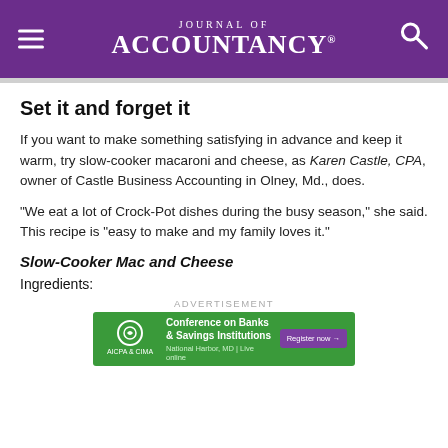Journal of Accountancy
Set it and forget it
If you want to make something satisfying in advance and keep it warm, try slow-cooker macaroni and cheese, as Karen Castle, CPA, owner of Castle Business Accounting in Olney, Md., does.
"We eat a lot of Crock-Pot dishes during the busy season," she said. This recipe is "easy to make and my family loves it."
Slow-Cooker Mac and Cheese
Ingredients:
[Figure (other): AICPA & CIMA advertisement banner for Conference on Banks & Savings Institutions. Green background with register now button. National Harbor, MD | Live online.]